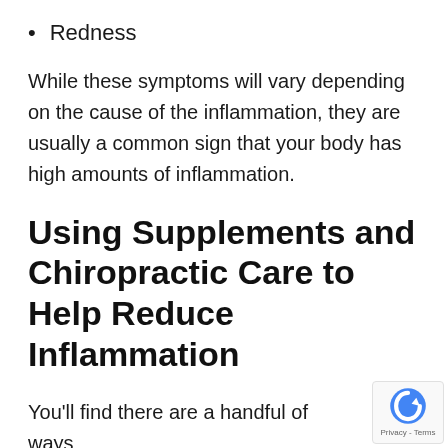Redness
While these symptoms will vary depending on the cause of the inflammation, they are usually a common sign that your body has high amounts of inflammation.
Using Supplements and Chiropractic Care to Help Reduce Inflammation
You'll find there are a handful of ways help reduce inflammation in your body,